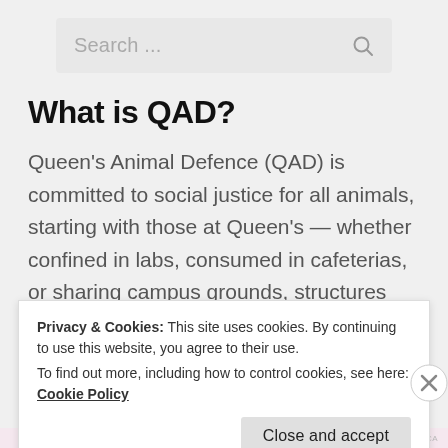[Figure (screenshot): Search bar with placeholder text 'Search ...' and a search icon on the right]
What is QAD?
Queen's Animal Defence (QAD) is committed to social justice for all animals, starting with those at Queen's — whether confined in labs, consumed in cafeterias, or sharing campus grounds, structures and habitats.
Privacy & Cookies: This site uses cookies. By continuing to use this website, you agree to their use.
To find out more, including how to control cookies, see here: Cookie Policy